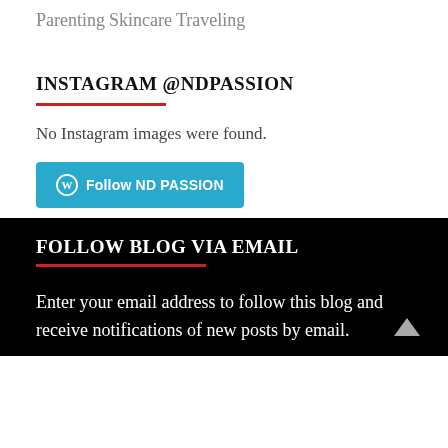Parenting
Skincare
Traveling
INSTAGRAM @NDPASSION
No Instagram images were found.
Follow ND PASSION
FOLLOW BLOG VIA EMAIL
Enter your email address to follow this blog and receive notifications of new posts by email.